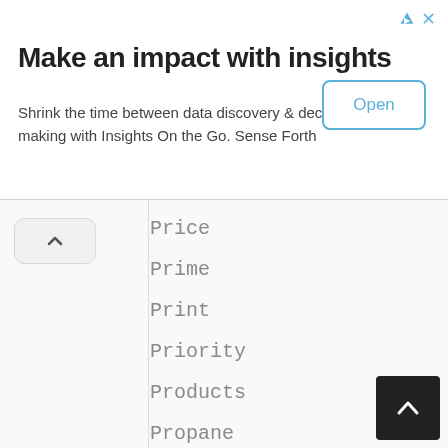[Figure (infographic): Advertisement banner: 'Make an impact with insights' with subtitle 'Shrink the time between data discovery & decision making with Insights On the Go. Sense Forth' and an 'Open' button]
Price
Prime
Print
Priority
Products
Propane
Pto
Publix
Ray
Rebate
Receipt
Receipts
Recycle